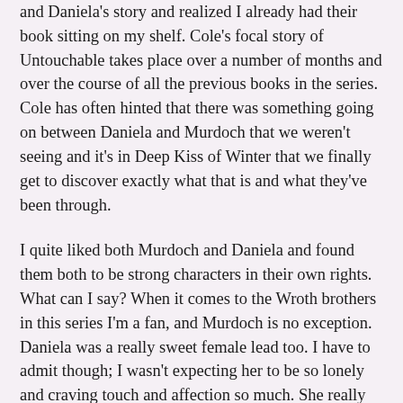and Daniela's story and realized I already had their book sitting on my shelf. Cole's focal story of Untouchable takes place over a number of months and over the course of all the previous books in the series. Cole has often hinted that there was something going on between Daniela and Murdoch that we weren't seeing and it's in Deep Kiss of Winter that we finally get to discover exactly what that is and what they've been through.
I quite liked both Murdoch and Daniela and found them both to be strong characters in their own rights. What can I say? When it comes to the Wroth brothers in this series I'm a fan, and Murdoch is no exception. Daniela was a really sweet female lead too. I have to admit though; I wasn't expecting her to be so lonely and craving touch and affection so much. She really was starved for it.
I think Cole did an awesome job with the romantic relationship in this book. Daniela and Murdoch faced some real trials in their journey to be together, the biggest issue being that they could never touch due to Daniela's race and heritage. They struggled to hold onto a relationship when they could never actually touch but in the end I think this really enhanced the strength of their love--even though they found being unable to touch hard, simply being apart was in some instances. I found this really beautifully done.